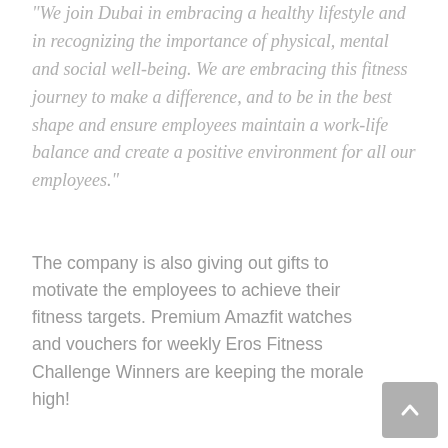“We join Dubai in embracing a healthy lifestyle and in recognizing the importance of physical, mental and social well-being. We are embracing this fitness journey to make a difference, and to be in the best shape and ensure employees maintain a work-life balance and create a positive environment for all our employees.”
The company is also giving out gifts to motivate the employees to achieve their fitness targets. Premium Amazfit watches and vouchers for weekly Eros Fitness Challenge Winners are keeping the morale high!